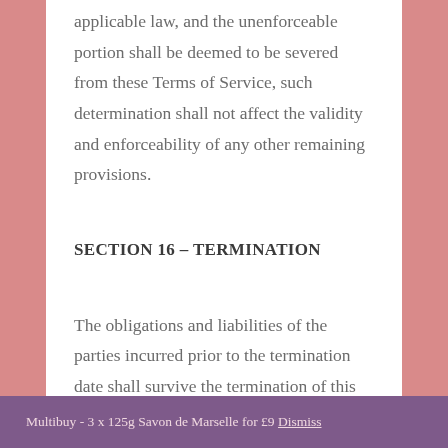applicable law, and the unenforceable portion shall be deemed to be severed from these Terms of Service, such determination shall not affect the validity and enforceability of any other remaining provisions.
SECTION 16 – TERMINATION
The obligations and liabilities of the parties incurred prior to the termination date shall survive the termination of this agreement for all purposes.
Multibuy - 3 x 125g Savon de Marselle for £9 Dismiss